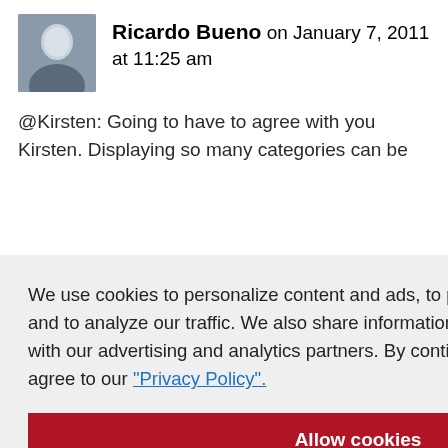Ricardo Bueno on January 7, 2011 at 11:25 am
@Kirsten: Going to have to agree with you Kirsten. Displaying so many categories can be ...se, I wanted ...gories visually. ...bar, I'd agree ...-down
...S blog!
Reply
We use cookies to personalize content and ads, to provide social media features and to analyze our traffic. We also share information about your use of our site with our advertising and analytics partners. By continuing to use our site, you agree to our "Privacy Policy".
Allow cookies
Dismiss
Cookie Preferences
...011 at 9:53
...s. Is it just me or do we tend to make things more difficult